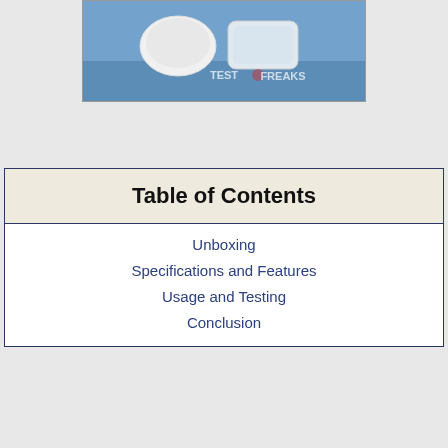[Figure (photo): Photo of white wireless earbuds and charging case on a blue cloth background with TestFreaks watermark]
| Table of Contents |
| --- |
| Unboxing |
| Specifications and Features |
| Usage and Testing |
| Conclusion |